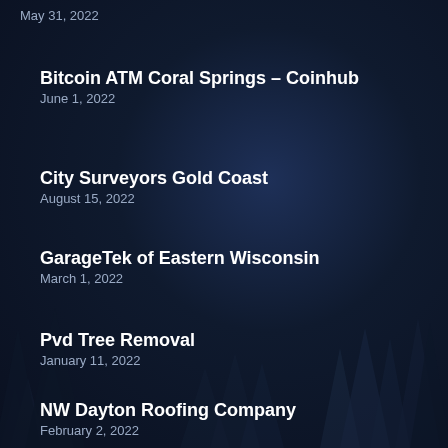May 31, 2022
Bitcoin ATM Coral Springs – Coinhub
June 1, 2022
City Surveyors Gold Coast
August 15, 2022
GarageTek of Eastern Wisconsin
March 1, 2022
Pvd Tree Removal
January 11, 2022
NW Dayton Roofing Company
February 2, 2022